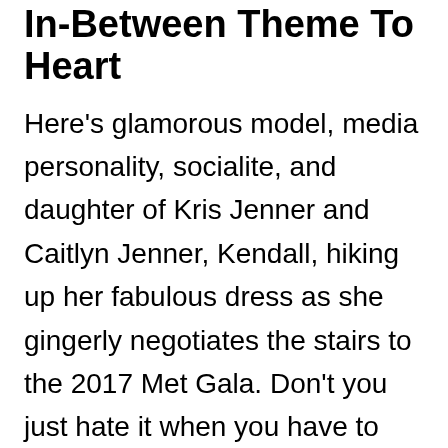In-Between Theme To Heart
Here's glamorous model, media personality, socialite, and daughter of Kris Jenner and Caitlyn Jenner, Kendall, hiking up her fabulous dress as she gingerly negotiates the stairs to the 2017 Met Gala. Don't you just hate it when you have to hold up your dress to reveal your perfect derrière? That particular year's exhibition examined the work of Japanese avant-garde fashion